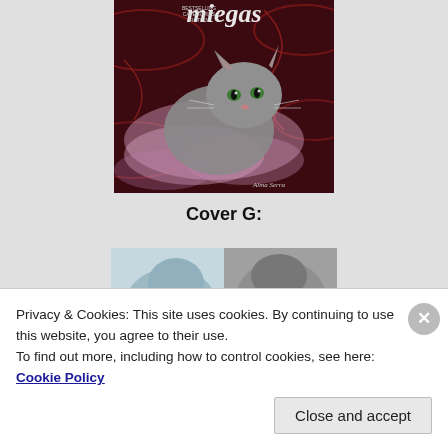[Figure (illustration): Book cover image showing a grey cat with green eyes amid pink/purple smoke swirls on a dark red background with the title 'miegas' at top. Author name 'Alma Serra' at bottom right.]
Cover G:
[Figure (illustration): Partial book cover image showing a cat in black and white tones with blue/teal color accents, partially visible.]
Privacy & Cookies: This site uses cookies. By continuing to use this website, you agree to their use.
To find out more, including how to control cookies, see here: Cookie Policy
Close and accept